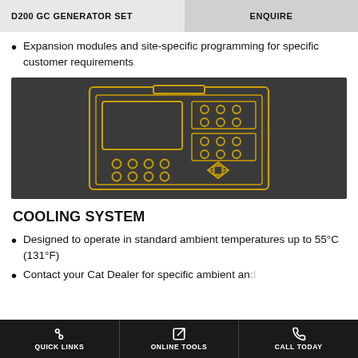D200 GC GENERATOR SET | ENQUIRE
Expansion modules and site-specific programming for specific customer requirements
[Figure (illustration): Control panel illustration with display screen, button grid, and navigation keys shown in yellow outline on dark gray background]
COOLING SYSTEM
Designed to operate in standard ambient temperatures up to 55°C (131°F)
Contact your Cat Dealer for specific ambient and
QUICK LINKS | ONLINE TOOLS | CALL TODAY